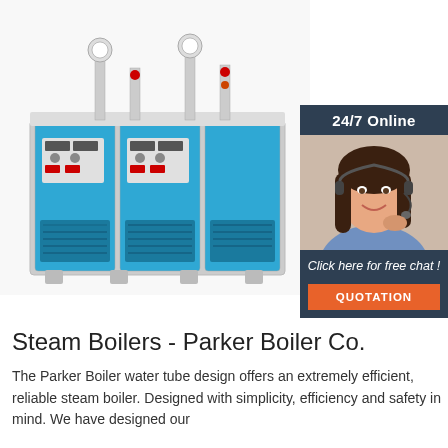[Figure (photo): Industrial electric steam boiler unit with three blue panels, control dials and gauges on top, manufactured equipment shown from front-right angle]
[Figure (infographic): 24/7 Online customer service chat widget with a smiling woman wearing a headset, dark navy background, 'Click here for free chat!' text, and orange QUOTATION button]
Steam Boilers - Parker Boiler Co.
The Parker Boiler water tube design offers an extremely efficient, reliable steam boiler. Designed with simplicity, efficiency and safety in mind. We have designed our